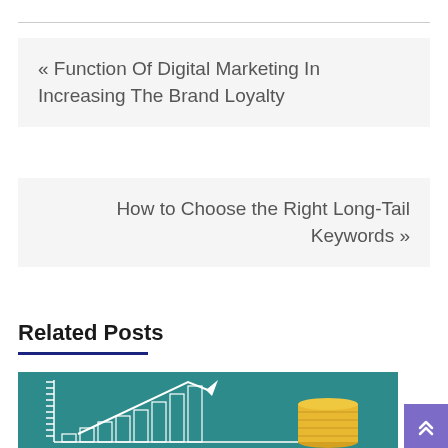« Function Of Digital Marketing In Increasing The Brand Loyalty
How to Choose the Right Long-Tail Keywords »
Related Posts
[Figure (photo): Teal/green chalkboard background with white line-drawn bar chart showing upward growth trend with an arrow, and a stack of gold coins on the right side.]